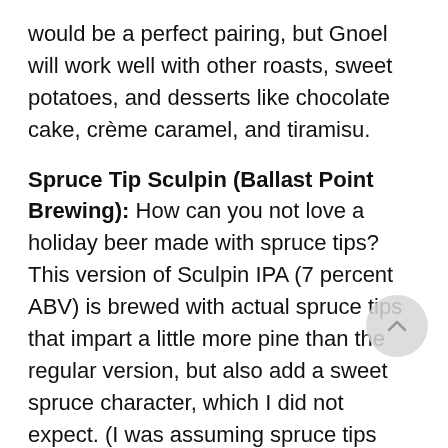would be a perfect pairing, but Gnoel will work well with other roasts, sweet potatoes, and desserts like chocolate cake, crème caramel, and tiramisu.
Spruce Tip Sculpin (Ballast Point Brewing): How can you not love a holiday beer made with spruce tips? This version of Sculpin IPA (7 percent ABV) is brewed with actual spruce tips that impart a little more pine than the regular version, but also add a sweet spruce character, which I did not expect. (I was assuming spruce tips would be very piney and a bit more bitter.) There are big aromas of lemon, grapefruit, and tropical fruit, with lovely citrus and pine flavors, a hint of honey, and an impressively fat mouthfeel. With its